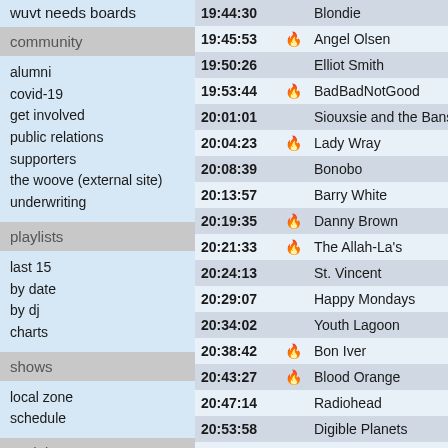wuvt needs boards
community
alumni
covid-19
get involved
public relations
supporters
the woove (external site)
underwriting
playlists
last 15
by date
by dj
charts
shows
local zone
schedule
social
facebook
twitter
instagram
| Time | Hot | Artist |
| --- | --- | --- |
| 19:44:30 |  | Blondie |
| 19:45:53 | 🔥 | Angel Olsen |
| 19:50:26 |  | Elliot Smith |
| 19:53:44 | 🔥 | BadBadNotGood |
| 20:01:01 |  | Siouxsie and the Banshees |
| 20:04:23 | 🔥 | Lady Wray |
| 20:08:39 |  | Bonobo |
| 20:13:57 |  | Barry White |
| 20:19:35 | 🔥 | Danny Brown |
| 20:21:33 | 🔥 | The Allah-La's |
| 20:24:13 |  | St. Vincent |
| 20:29:07 |  | Happy Mondays |
| 20:34:02 |  | Youth Lagoon |
| 20:38:42 | 🔥 | Bon Iver |
| 20:43:27 | 🔥 | Blood Orange |
| 20:47:14 |  | Radiohead |
| 20:53:58 |  | Digible Planets |
| 20:58:44 |  | Rufus Wainwright |